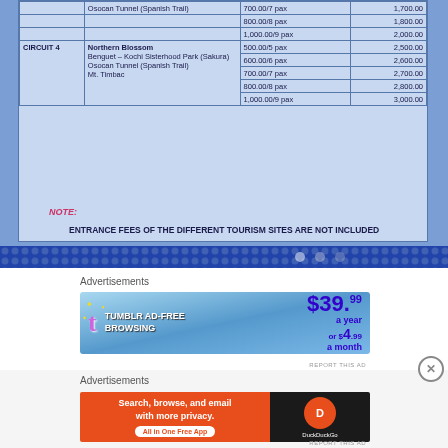|  | Destinations | Rate/Add'l pax | Total |
| --- | --- | --- | --- |
|  | Osocan Tunnel (Spanish Trail) | 700.00/7 pax | 1,700.00 |
|  |  | 800.00/8 pax | 1,800.00 |
|  |  | 1,000.00/9 pax | 2,000.00 |
| CIRCUIT 4 | Northern Blossom
Benguet – Kochi Sisterhood Park (Sakura)
Osocan Tunnel (Spanish Trail)
Mt. Timbac | 500.00/5 pax
600.00/6 pax
700.00/7 pax
800.00/8 pax
1,000.00/9 pax | 2,500.00
2,600.00
2,700.00
2,800.00
3,000.00 |
NOTE:
ENTRANCE FEES OF THE DIFFERENT TOURISM SITES ARE NOT INCLUDED
[Figure (screenshot): Tumblr Ad-Free Browsing advertisement banner: $39.99 a year or $4.99 a month]
[Figure (screenshot): DuckDuckGo advertisement: Search, browse, and email with more privacy. All in One Free App]